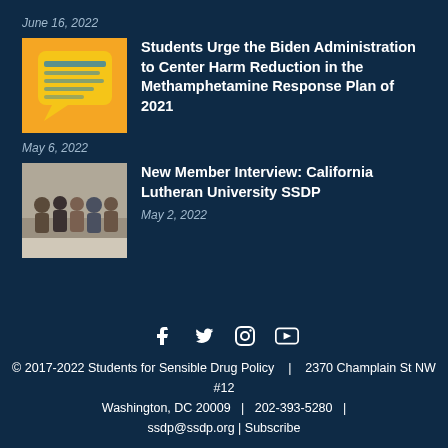June 16, 2022
[Figure (illustration): Yellow speech bubble graphic on orange background with small text inside]
Students Urge the Biden Administration to Center Harm Reduction in the Methamphetamine Response Plan of 2021
May 6, 2022
[Figure (photo): Group photo of students/members at California Lutheran University SSDP]
New Member Interview: California Lutheran University SSDP
May 2, 2022
© 2017-2022 Students for Sensible Drug Policy | 2370 Champlain St NW #12 Washington, DC 20009 | 202-393-5280 | ssdp@ssdp.org | Subscribe